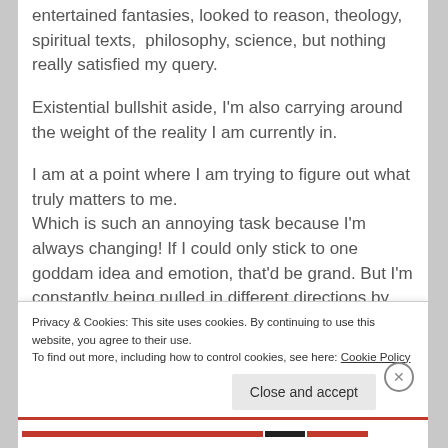entertained fantasies, looked to reason, theology, spiritual texts, philosophy, science, but nothing really satisfied my query.
Existential bullshit aside, I'm also carrying around the weight of the reality I am currently in.
I am at a point where I am trying to figure out what truly matters to me.
Which is such an annoying task because I'm always changing! If I could only stick to one goddam idea and emotion, that'd be grand. But I'm constantly being pulled in different directions by my moods, desires, feelings, thoughts, and ideas.
One day I wake up feeling confident about a particular
Privacy & Cookies: This site uses cookies. By continuing to use this website, you agree to their use.
To find out more, including how to control cookies, see here: Cookie Policy